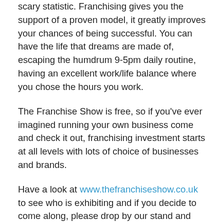scary statistic. Franchising gives you the support of a proven model, it greatly improves your chances of being successful. You can have the life that dreams are made of, escaping the humdrum 9-5pm daily routine, having an excellent work/life balance where you chose the hours you work.
The Franchise Show is free, so if you’ve ever imagined running your own business come and check it out, franchising investment starts at all levels with lots of choice of businesses and brands.
Have a look at www.thefranchiseshow.co.uk to see who is exhibiting and if you decide to come along, please drop by our stand and say hello.
“Have a sto...